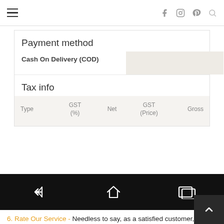Navigation header with hamburger menu and social icons
Payment method
Cash On Delivery (COD)
Tax info
| Type | GST (%) | Net | GST (Price) | Gross |
| --- | --- | --- | --- | --- |
[Figure (screenshot): Android navigation bar with back, home, and recent apps buttons on black background]
6. Rate Our Service - Needless to say, as a satisfied customer, rate 5 out of 5 stars. See screenshot below.